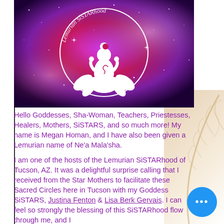[Figure (logo): Lemurian SiSTARhood logo — cosmic purple/magenta galaxy background with white lotus-seated goddess figure holding crescent moon above head, enclosed in a circle with cursive text reading 'Lemurian SiSTARhood', stars scattered throughout]
Hello Goddesses, Sha-Woman, Teachers, Priestesses, Healers, Mothers, SiSTARS, and so much more! My name is Megan Homan, and I have also been given a Lemurian name of Ne'a Mala'sha.
I am one of the hosts of the Lemurian SiSTARhood of Tucson, AZ. It was a delightful surprise calling that I received from the Star Mothers to facilitate these Sacred Circles here in Tucson with my Goddess SiSTARS, Justina Fenton & Lisa Berk Gervais. I can feel so strongly the blessing of this SiSTARhood flow through me, and I